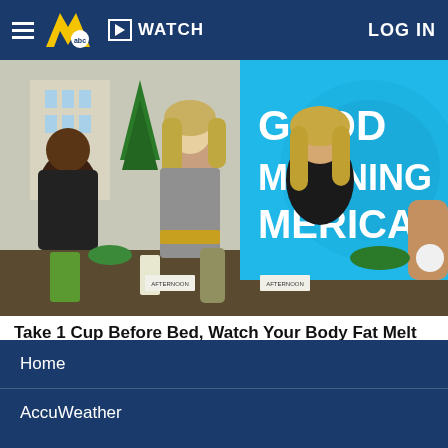WATCH  LOG IN
[Figure (photo): Screenshot of a Good Morning America TV segment showing women at a table with food and drinks, with the GMA logo visible on screen in the background]
Take 1 Cup Before Bed, Watch Your Body Fat Melt Away
Dr. Kellyann
Home
AccuWeather